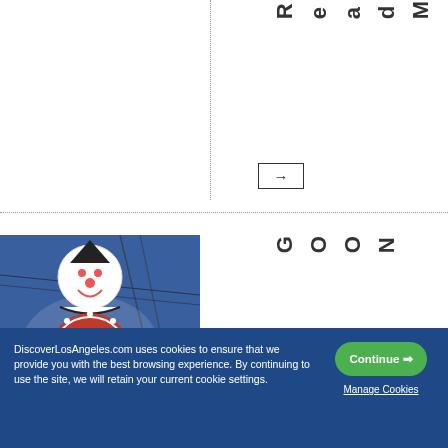ReadMore →
[Figure (photo): Circus Circus Las Vegas clown sign against blue sky]
GOON...
DiscoverLosAngeles.com uses cookies to ensure that we provide you with the best browsing experience. By continuing to use the site, we will retain your current cookie settings.
Continue →
Manage Cookies